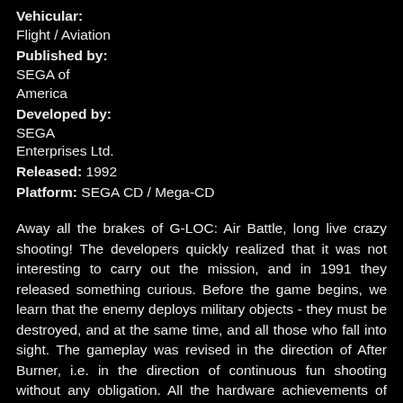Vehicular: Flight / Aviation
Published by: SEGA of America
Developed by: SEGA Enterprises Ltd.
Released: 1992
Platform: SEGA CD / Mega-CD
Away all the brakes of G-LOC: Air Battle, long live crazy shooting! The developers quickly realized that it was not interesting to carry out the mission, and in 1991 they released something curious. Before the game begins, we learn that the enemy deploys military objects - they must be destroyed, and at the same time, and all those who fall into sight. The gameplay was revised in the direction of After Burner, i.e. in the direction of continuous fun shooting without any obligation. All the hardware achievements of recent years have remained in place, so that the game won in all positions. All interested owners could remake their G-LOC: Air Battle machines in Strike Fighter, it was not difficult. It is